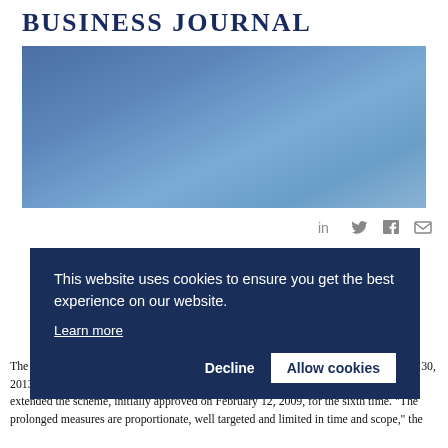[Figure (screenshot): Business Journal logo bar with dark navy bold text on white background, above a blue gradient image block representing a photo placeholder]
[Figure (infographic): Social share icons: LinkedIn, Twitter, Facebook, Email in gray]
This website uses cookies to ensure you get the best experience on our website. Learn more
The European Commission approved an extension of a Hungarian aid scheme till June 30, 2013, the Commission's representative in Hungary said on Friday. The Commission extended the scheme, initially approved on February 12, 2009, for the sixth time. "The prolonged measures are proportionate, well targeted and limited in time and scope," the